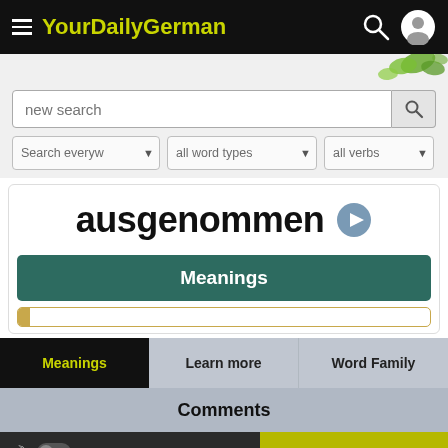YourDailyGerman
[Figure (screenshot): Search bar with placeholder 'new search' and search button, plus three filter dropdowns: 'Search everyw...', 'all word types', 'all verbs']
ausgenommen
Meanings
Meanings | Learn more | Word Family
Comments
Subscribe for free